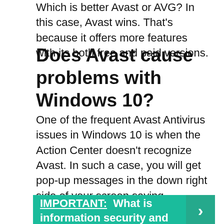Which is better Avast or AVG? In this case, Avast wins. That’s because it offers more features with its both free and paid versions.
Does Avast cause problems with Windows 10?
One of the frequent Avast Antivirus issues in Windows 10 is when the Action Center doesn’t recognize Avast. In such a case, you will get pop-up messages in the down right side of your screen saying “Windows Defender and Avast Antivirus are both turned off,’ or ‘Windows did not find an antivirus program”.
IMPORTANT:  What is information security and